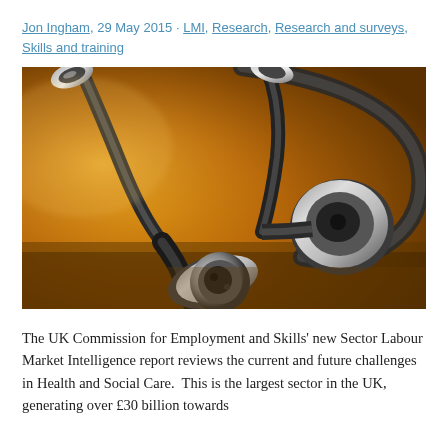Jon Ingham, 29 May 2015 · LMI, Research, Research and surveys, Skills and training
[Figure (photo): Close-up photograph of a medical stethoscope resting on a surface, with warm amber/golden tones. The stethoscope chest piece and earpieces are visible in detail.]
The UK Commission for Employment and Skills' new Sector Labour Market Intelligence report reviews the current and future challenges in Health and Social Care.  This is the largest sector in the UK, generating over £30 billion towards